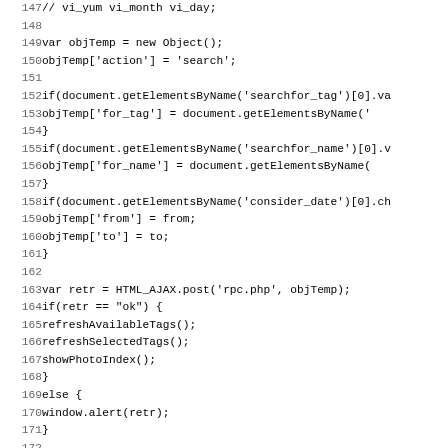Code snippet lines 147-179, JavaScript source code showing objTemp variable assignments, getElementsByName calls, conditional logic, HTML_AJAX.post call, refreshAvailableTags, refreshSelectedTags, showPhotoIndex, window.alert, startSearch and datesearch function definitions.